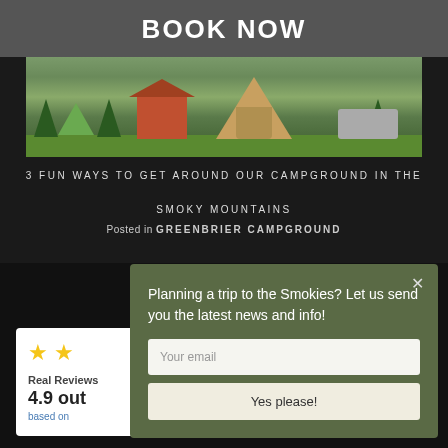BOOK NOW
[Figure (photo): Campground scene with tents, a red-roofed building, trees, and RV on grassy area]
3 FUN WAYS TO GET AROUND OUR CAMPGROUND IN THE SMOKY MOUNTAINS
Posted in GREENBRIER CAMPGROUND
Planning a trip to the Smokies? Let us send you the latest news and info!
Real Reviews
4.9 out
based on
Yes please!